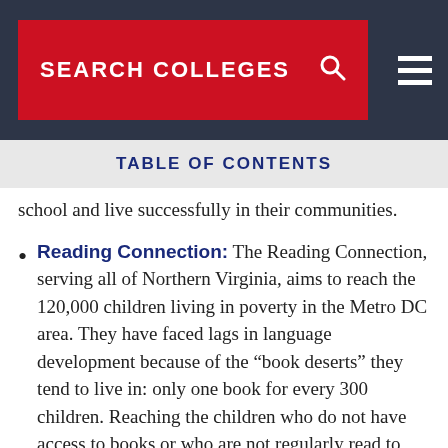SEARCH COLLEGES
TABLE OF CONTENTS
school and live successfully in their communities.
Reading Connection: The Reading Connection, serving all of Northern Virginia, aims to reach the 120,000 children living in poverty in the Metro DC area. They have faced lags in language development because of the “book deserts” they tend to live in: only one book for every 300 children. Reaching the children who do not have access to books or who are not regularly read to can make all the difference in their educational success or failure. For 27 years, this program has reached those who are at risk through reading programs and training